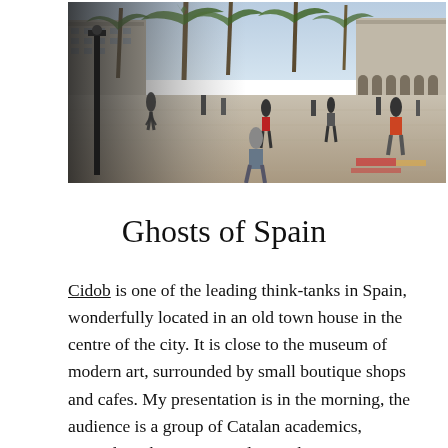[Figure (photo): A busy public square in Barcelona, Spain, with palm trees, classical architecture, and many people walking around. Some vendors have laid goods on the ground in the foreground.]
Ghosts of Spain
Cidob is one of the leading think-tanks in Spain, wonderfully located in an old town house in the centre of the city. It is close to the museum of modern art, surrounded by small boutique shops and cafes. My presentation is in the morning, the audience is a group of Catalan academics, journalists, business people. My host